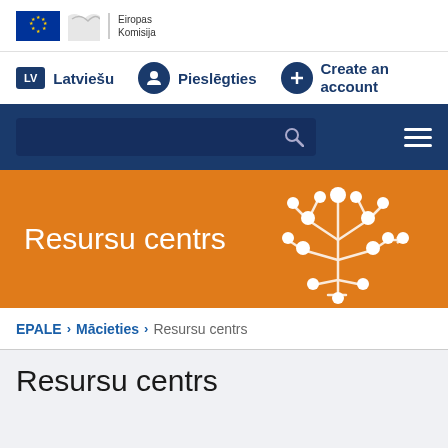[Figure (logo): European Commission logo with EU flag and Eiropas Komisija text]
LV  Latviešu   Pieslēgties   Create an account
[Figure (screenshot): Blue navigation bar with search input and hamburger menu icon]
Resursu centrs
EPALE > Mācieties > Resursu centrs
Resursu centrs